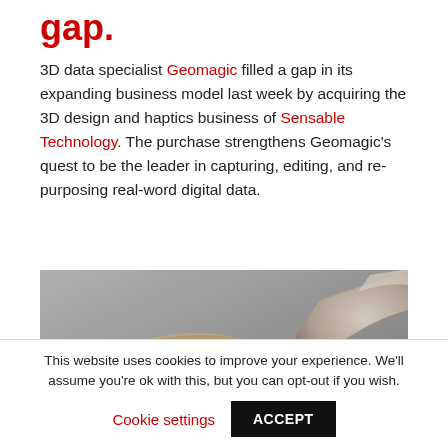gap.
3D data specialist Geomagic filled a gap in its expanding business model last week by acquiring the 3D design and haptics business of Sensable Technology. The purchase strengthens Geomagic's quest to be the leader in capturing, editing, and re-purposing real-word digital data.
[Figure (photo): 3D rendered image of a haptic device / stylus peripheral against a grey background]
This website uses cookies to improve your experience. We'll assume you're ok with this, but you can opt-out if you wish.
Cookie settings   ACCEPT